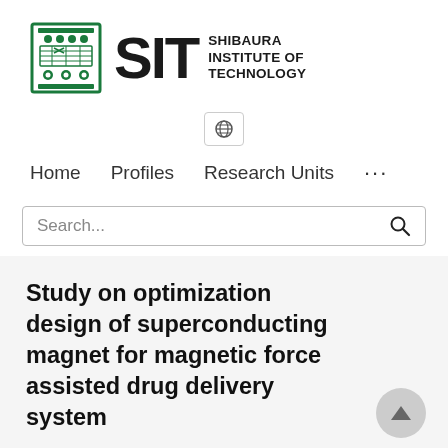[Figure (logo): Shibaura Institute of Technology logo with green emblem, large SIT text, and SHIBAURA INSTITUTE OF TECHNOLOGY wordmark]
[Figure (other): Globe/language selector button with world icon]
Home   Profiles   Research Units   ...
Search...
Study on optimization design of superconducting magnet for magnetic force assisted drug delivery system